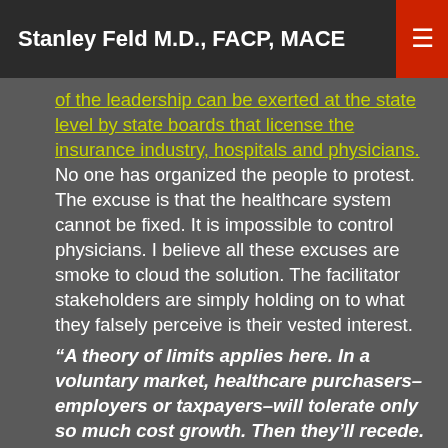Stanley Feld M.D., FACP, MACE
of the leadership can be exerted at the state level by state boards that license the insurance industry, hospitals and physicians. No one has organized the people to protest. The excuse is that the healthcare system cannot be fixed. It is impossible to control physicians. I believe all these excuses are smoke to cloud the solution. The facilitator stakeholders are simply holding on to what they falsely perceive is their vested interest.
“A theory of limits applies here. In a voluntary market, healthcare purchasers–employers or taxpayers–will tolerate only so much cost growth. Then they’ll recede. It is preposterous to believe the well won’t run dry.”
All of these pricing mismatches and excess non